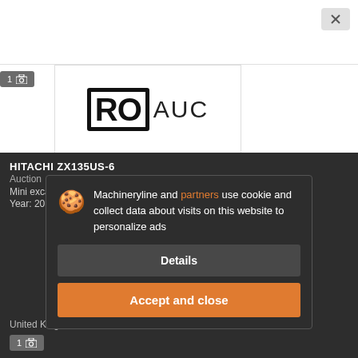[Figure (screenshot): Close button in top right corner]
[Figure (logo): RO AUC logo — bold RO with box border and AUC text]
1 [camera icon]
HITACHI ZX135US-6
Auction
Mini excavators
Year: 2015
United Kingdom / Leeds
Machineryline and partners use cookie and collect data about visits on this website to personalize ads
Details
Accept and close